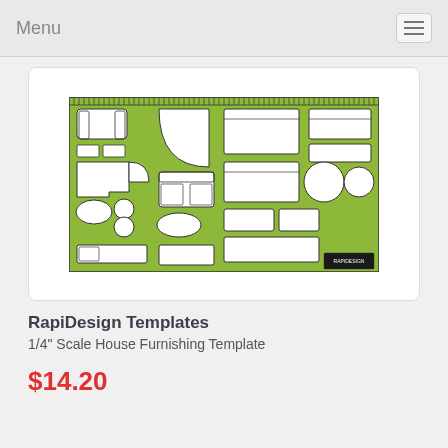Menu
[Figure (illustration): Green RapiDesign 1/4 inch scale house furnishing template with cutouts for furniture shapes including sofas, tables, chairs, beds, and other household items]
RapiDesign Templates
1/4" Scale House Furnishing Template
$14.20